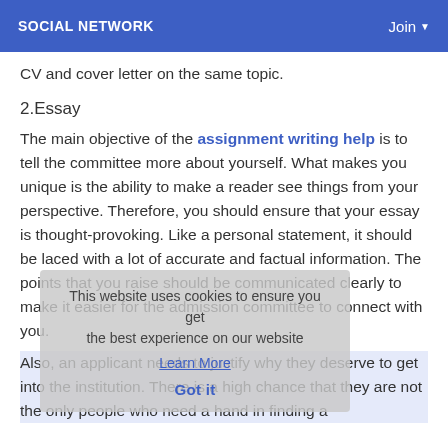SOCIAL NETWORK   Join
CV and cover letter on the same topic.
2.Essay
The main objective of the assignment writing help is to tell the committee more about yourself. What makes you unique is the ability to make a reader see things from your perspective. Therefore, you should ensure that your essay is thought-provoking. Like a personal statement, it should be laced with a lot of accurate and factual information. The points that you raise should be communicated clearly to make it easier for the admission committee to connect with you.
This website uses cookies to ensure you get the best experience on our website
Learn More
Got it
Also, an applicant needs to justify why they deserve to get into the institution. There is a high chance that they are not the only people who need a hand in finding a